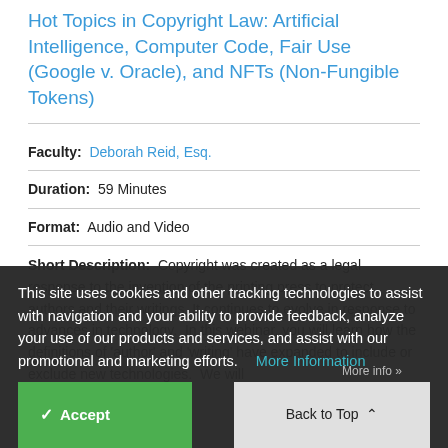Hot Topics in Copyright Law: Artificial Intelligence, Computer Code, Fair Use (Google v. Oracle), and NFTs (Non-Fungible Tokens)
Faculty: Deborah Reid, Esq.
Duration: 59 Minutes
Format: Audio and Video
Short Description: Copyright was created as a legal response to the invention of the printing press to protect authors and their writings. It continues to evolve in response to advances in technology.  In this webinar, you will learn how the definitions of 'author' and 'writing' have expanded to include or exclude new technologies.  We will
This site uses cookies and other tracking technologies to assist with navigation and your ability to provide feedback, analyze your use of our products and services, and assist with our promotional and marketing efforts.    More Information
More info »
✓ Accept
Back to Top ∧